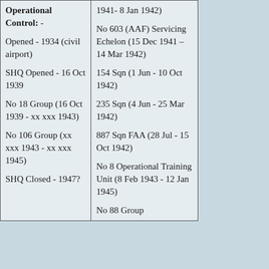| Operational Control: -

Opened - 1934 (civil airport)

SHQ Opened - 16 Oct 1939

No 18 Group (16 Oct 1939 - xx xxx 1943)

No 106 Group (xx xxx 1943 - xx xxx 1945)

SHQ Closed - 1947? | 1941- 8 Jan 1942)

No 603 (AAF) Servicing Echelon (15 Dec 1941 – 14 Mar 1942)

154 Sqn (1 Jun - 10 Oct 1942)

235 Sqn (4 Jun - 25 Mar 1942)

887 Sqn FAA (28 Jul - 15 Oct 1942)

No 8 Operational Training Unit (8 Feb 1943 - 12 Jan 1945)

No 88 Group |